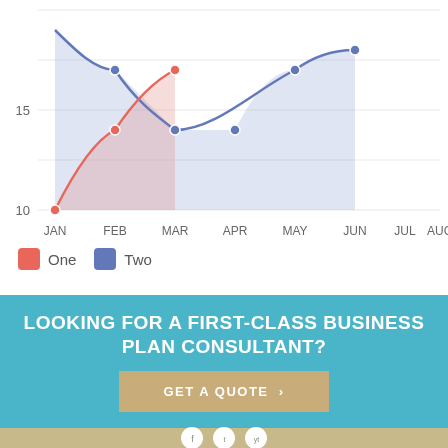[Figure (line-chart): ]
LOOKING FOR A FIRST-CLASS BUSINESS PLAN CONSULTANT?
GET A QUOTE ›